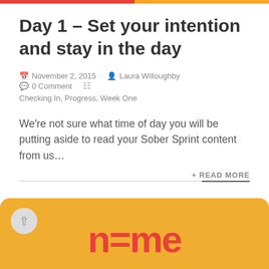Day 1 – Set your intention and stay in the day
November 2, 2015  Laura Willoughby  0 Comment
Checking In, Progress, Week One
We're not sure what time of day you will be putting aside to read your Sober Sprint content from us…
+ READ MORE
[Figure (logo): Gold/yellow rounded card at bottom with 'n=me' in red bold text, partially visible]